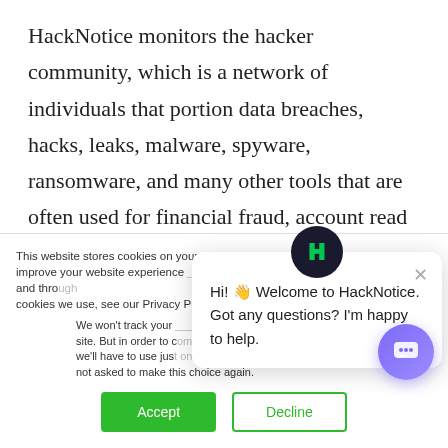HackNotice monitors the hacker community, which is a network of individuals that portion data breaches, hacks, leaks, malware, spyware, ransomware, and many other tools that are often used for financial fraud, account read overs, and further breaches and hacks. HackNotice monitors the hacker community specifically for breaches, hacks, and data leaks that had consumers. HackNotice applies industry specific...
This website stores cookies on your computer. These cookies are used to improve your website experience you, both on this website and through cookies we use, see our Privacy P...
We won't track your site. But in order to c we'll have to use just not asked to make this choice again.
Hi! 👋 Welcome to HackNotice. Got any questions? I'm happy to help.
Accept
Decline